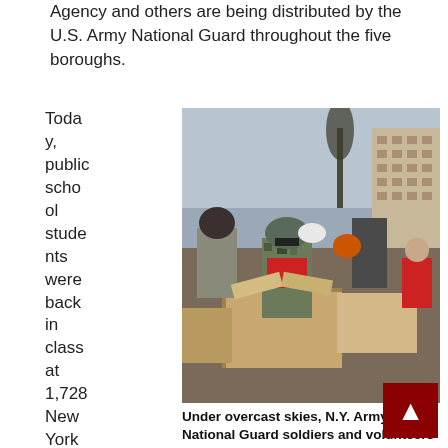Agency and others are being distributed by the U.S. Army National Guard throughout the five boroughs.
Today, public school students were back in class at 1,728 New York City schools, a
[Figure (photo): N.Y. Army National Guard soldiers and volunteers from New York Cares handing out kosher meals outside a Jewish community center in Brighton Beach, New York. Soldiers and civilians working with cardboard boxes under overcast skies with a building in the background.]
Under overcast skies, N.Y. Army National Guard soldiers and volunteers from New York Cares hand out kosher meals outside a Jewish community center in Brighton Beach, New York, to residents who have lost power or water due to Hurricane Sandy, November 7, 2012 (Photo by Staff Sgt. Ben K. Navarro, courtesy U.S. Army)